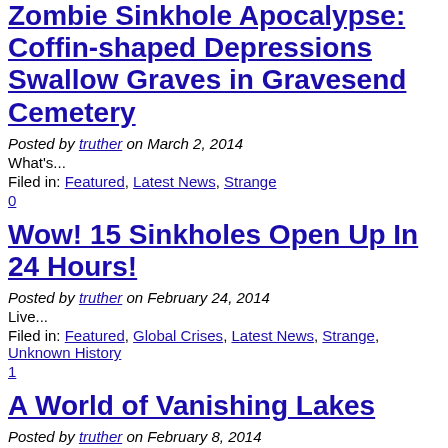Zombie Sinkhole Apocalypse: Coffin-shaped Depressions Swallow Graves in Gravesend Cemetery
Posted by truther on March 2, 2014
What's...
Filed in: Featured, Latest News, Strange
0
Wow! 15 Sinkholes Open Up In 24 Hours!
Posted by truther on February 24, 2014
Live...
Filed in: Featured, Global Crises, Latest News, Strange, Unknown History
1
A World of Vanishing Lakes
Posted by truther on February 8, 2014
Sarah...
Filed in: Featured, Global Crises, Latest News, Strange
3